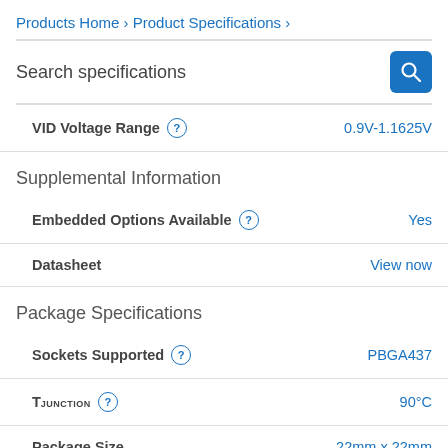Products Home › Product Specifications ›
Search specifications
| Specification | Value |
| --- | --- |
| VID Voltage Range | 0.9V-1.1625V |
Supplemental Information
| Specification | Value |
| --- | --- |
| Embedded Options Available | Yes |
| Datasheet | View now |
Package Specifications
| Specification | Value |
| --- | --- |
| Sockets Supported | PBGA437 |
| TJUNCTION | 90°C |
| Package Size | 22mm x 22mm |